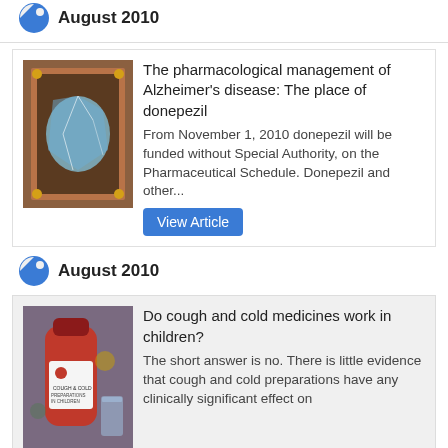August 2010
[Figure (photo): A broken mirror with a red frame showing a surreal reflection of a blue sky]
The pharmacological management of Alzheimer's disease: The place of donepezil
From November 1, 2010 donepezil will be funded without Special Authority, on the Pharmaceutical Schedule. Donepezil and other...
View Article
August 2010
[Figure (photo): A red bottle of cough and cold medicine for children with a glass in the background]
Do cough and cold medicines work in children?
The short answer is no. There is little evidence that cough and cold preparations have any clinically significant effect on